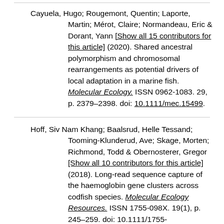Cayuela, Hugo; Rougemont, Quentin; Laporte, Martin; Mérot, Claire; Normandeau, Eric & Dorant, Yann [Show all 15 contributors for this article] (2020). Shared ancestral polymorphism and chromosomal rearrangements as potential drivers of local adaptation in a marine fish. Molecular Ecology. ISSN 0962-1083. 29, p. 2379–2398. doi: 10.1111/mec.15499.
Hoff, Siv Nam Khang; Baalsrud, Helle Tessand; Tooming-Klunderud, Ave; Skage, Morten; Richmond, Todd & Obernosterer, Gregor [Show all 10 contributors for this article] (2018). Long-read sequence capture of the haemoglobin gene clusters across codfish species. Molecular Ecology Resources. ISSN 1755-098X. 19(1), p. 245–259. doi: 10.1111/1755-